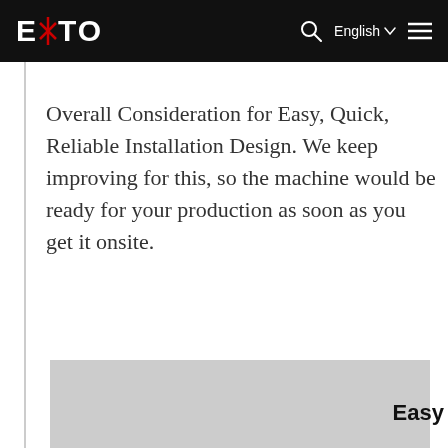EETO   English ☰
Overall Consideration for Easy, Quick, Reliable Installation Design. We keep improving for this, so the machine would be ready for your production as soon as you get it onsite.
[Figure (photo): Grey placeholder image at bottom of page, partially visible]
Easy